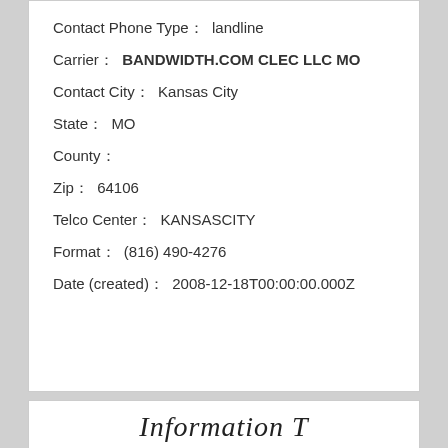Contact Phone Type：  landline
Carrier：  BANDWIDTH.COM CLEC LLC MO
Contact City：  Kansas City
State：  MO
County：
Zip：  64106
Telco Center：  KANSASCITY
Format：  (816) 490-4276
Date (created)：  2008-12-18T00:00:00.000Z
Information T…